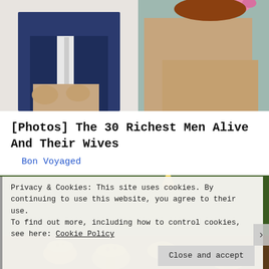[Figure (photo): Photo of a man in a navy suit and a woman in a beige lace outfit seated together]
[Photos] The 30 Richest Men Alive And Their Wives
Bon Voyaged
[Figure (photo): Photo of yellow mushrooms or fungi growing on garden ground with green plants]
Privacy & Cookies: This site uses cookies. By continuing to use this website, you agree to their use.
To find out more, including how to control cookies, see here: Cookie Policy
Close and accept